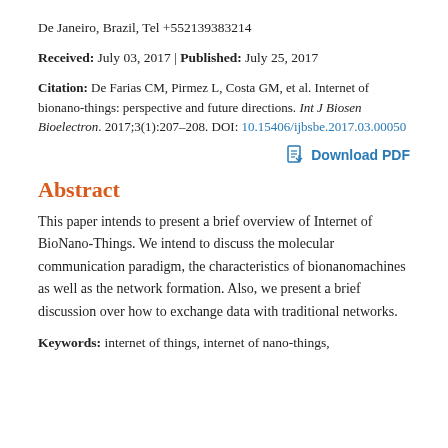De Janeiro, Brazil, Tel +552139383214
Received: July 03, 2017 | Published: July 25, 2017
Citation: De Farias CM, Pirmez L, Costa GM, et al. Internet of bionano-things: perspective and future directions. Int J Biosen Bioelectron. 2017;3(1):207–208. DOI: 10.15406/ijbsbe.2017.03.00050
Download PDF
Abstract
This paper intends to present a brief overview of Internet of BioNano-Things. We intend to discuss the molecular communication paradigm, the characteristics of bionanomachines as well as the network formation. Also, we present a brief discussion over how to exchange data with traditional networks.
Keywords: internet of things, internet of nano-things,